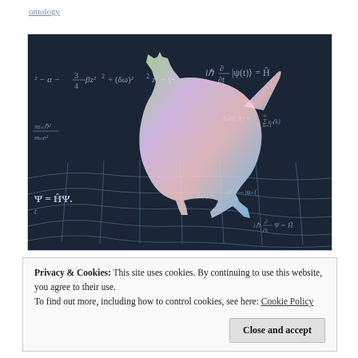ontology
[Figure (illustration): A holographic/rainbow-colored cat silhouette standing on a warped grid (spacetime curvature visualization), with quantum physics equations visible in the dark background: Schrödinger equation, wave functions, and other quantum mechanical formulas.]
Privacy & Cookies: This site uses cookies. By continuing to use this website, you agree to their use.
To find out more, including how to control cookies, see here: Cookie Policy
Close and accept